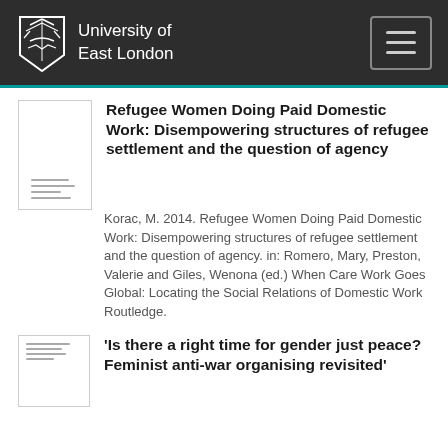University of East London
Refugee Women Doing Paid Domestic Work: Disempowering structures of refugee settlement and the question of agency
Korac, M. 2014. Refugee Women Doing Paid Domestic Work: Disempowering structures of refugee settlement and the question of agency. in: Romero, Mary, Preston, Valerie and Giles, Wenona (ed.) When Care Work Goes Global: Locating the Social Relations of Domestic Work Routledge.
'Is there a right time for gender just peace? Feminist anti-war organising revisited'